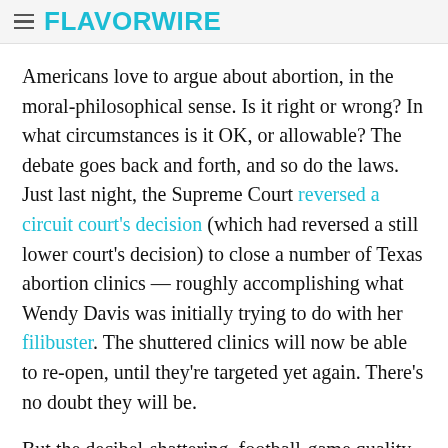FLAVORWIRE
Americans love to argue about abortion, in the moral-philosophical sense. Is it right or wrong? In what circumstances is it OK, or allowable? The debate goes back and forth, and so do the laws. Just last night, the Supreme Court reversed a circuit court's decision (which had reversed a still lower court's decision) to close a number of Texas abortion clinics — roughly accomplishing what Wendy Davis was initially trying to do with her filibuster. The shuttered clinics will now be able to re-open, until they're targeted yet again. There's no doubt they will be.
But the decibel-shattering, football-game quality of